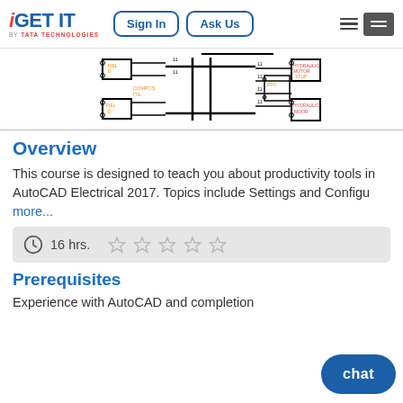[Figure (logo): iGET IT by TATA Technologies logo with Sign In and Ask Us navigation buttons]
[Figure (schematic): Partial AutoCAD Electrical schematic diagram showing components with wiring connections]
Overview
This course is designed to teach you about productivity tools in AutoCAD Electrical 2017. Topics include Settings and Configu more...
16 hrs.
Prerequisites
Experience with AutoCAD and completion